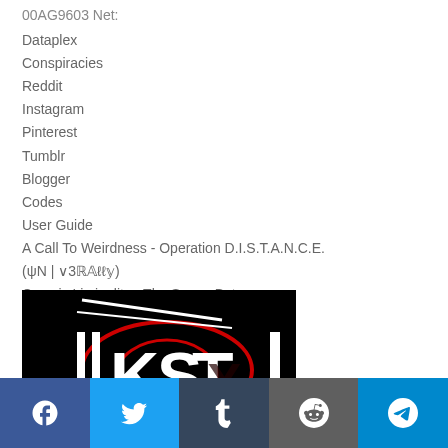00AG9603 Net:
Dataplex
Conspiracies
Reddit
Instagram
Pinterest
Tumblr
Blogger
Codes
User Guide
A Call To Weirdness - Operation D.I.S.T.A.N.C.E.
(ψN | ∨3ℝ𝔸ℓℓ𝕪)
Cosmic Liminality - The Space Between
[Figure (logo): KSTXI logo on black background with white letters K, S, T, X, I and a red oval/circle graphic]
Social share bar: Facebook, Twitter, Tumblr, Reddit, Telegram